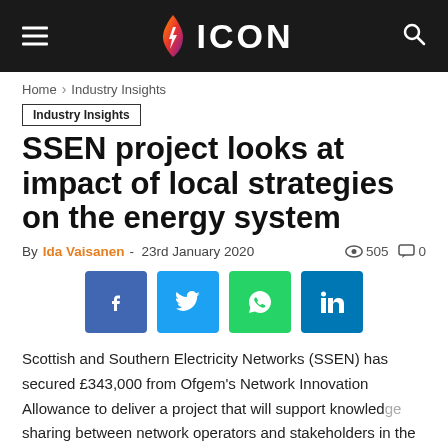ICON
Home › Industry Insights
Industry Insights
SSEN project looks at impact of local strategies on the energy system
By Ida Vaisanen - 23rd January 2020  505  0
[Figure (infographic): Social share buttons: Facebook, Twitter, WhatsApp, LinkedIn]
Scottish and Southern Electricity Networks (SSEN) has secured £343,000 from Ofgem's Network Innovation Allowance to deliver a project that will support knowledge sharing between network operators and stakeholders in the